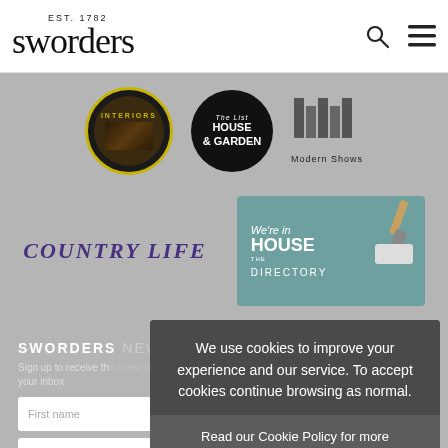EST. 1782 sworders
[Figure (logo): Interiors circular logo with yellow border on dark background]
[Figure (logo): The List House & Garden circular logo on black background]
[Figure (logo): Modern Shows logo with geometric M shape]
[Figure (logo): Country Life italic text logo in purple]
[Figure (logo): We're in The House Directory badge in teal with paint brush]
SWORDERS NEWSLETTER
Sign up to receive the latest news and features to your inbox
We use cookies to improve your experience and our service. To accept cookies continue browsing as normal. Read our Cookie Policy for more information.
Ok